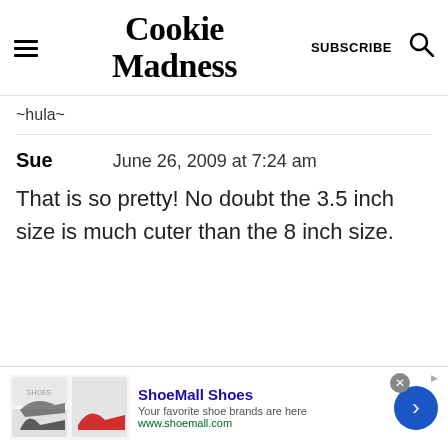Cookie Madness | SUBSCRIBE
~hula~
Sue   June 26, 2009 at 7:24 am
That is so pretty! No doubt the 3.5 inch size is much cuter than the 8 inch size.
[Figure (other): Advertisement banner for ShoeMall Shoes showing shoe images, title 'ShoeMall Shoes', tagline 'Your favorite shoe brands are here', URL 'www.shoemall.com', with a blue arrow button.]